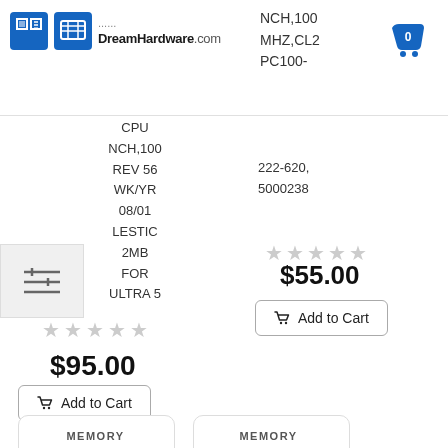DreamHardware.com
CPU NCH,100 MHZ,CL2 REV 56 PC100- WK/YR 222-620, 08/01 5000238 LESTIC 2MB FOR ULTRA 5
★★★★★
$55.00
Add to Cart
★★★★★
$95.00
Add to Cart
[Figure (illustration): RAM memory module illustration]
[Figure (illustration): RAM memory module illustration]
MEMORY
MEMORY